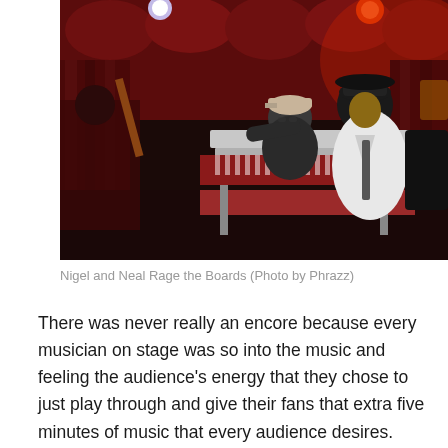[Figure (photo): Concert photo showing two musicians on stage. One musician in a dark hoodie and baseball cap leans forward over a keyboard instrument. Another musician in a white jacket and dark fedora hat stands to the right smiling. Red stage lighting and red curtains are visible in the background. A third musician is partially visible on the left.]
Nigel and Neal Rage the Boards (Photo by Phrazz)
There was never really an encore because every musician on stage was so into the music and feeling the audience's energy that they chose to just play through and give their fans that extra five minutes of music that every audience desires.